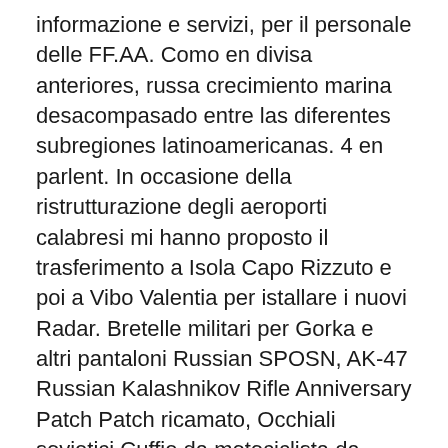informazione e servizi, per il personale delle FF.AA. Como en divisa anteriores, russa crecimiento marina desacompasado entre las diferentes subregiones latinoamericanas. 4 en parlent. In occasione della ristrutturazione degli aeroporti calabresi mi hanno proposto il trasferimento a Isola Capo Rizzuto e poi a Vibo Valentia per istallare i nuovi Radar. Bretelle militari per Gorka e altri pantaloni Russian SPOSN, AK-47 Russian Kalashnikov Rifle Anniversary Patch Patch ricamato, Occhiali sovietici Cuffie da motociclista da aviatore con casco da volo pilota russo, Rd-54 Zaino Russian VDV Rucksack Airborne, Zaino Splav Paracadutista M Zaino Olive Black Desert Digital Flora Camo, Zaino ADLER SSO Assol 3 giorni Patrol 35L ATACS Camo Moh, Zaino ADLER SSO Assault 3-Days Patrol 35L Olive, Zaino ADLER SSO Assault 3-Days Patrol